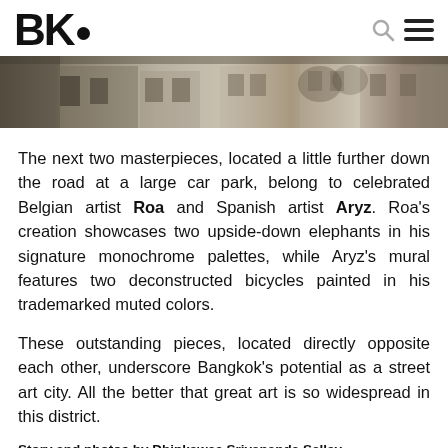BK•
[Figure (photo): A wide horizontal strip photograph showing a building facade with street art murals, muted tones of grey and beige, architectural details visible along the roofline.]
The next two masterpieces, located a little further down the road at a large car park, belong to celebrated Belgian artist Roa and Spanish artist Aryz. Roa's creation showcases two upside-down elephants in his signature monochrome palettes, while Aryz's mural features two deconstructed bicycles painted in his trademarked muted colors.
These outstanding pieces, located directly opposite each other, underscore Bangkok's potential as a street art city. All the better that great art is so widespread in this district.
Story and photos by Dhipkawee Sriyananda Selley